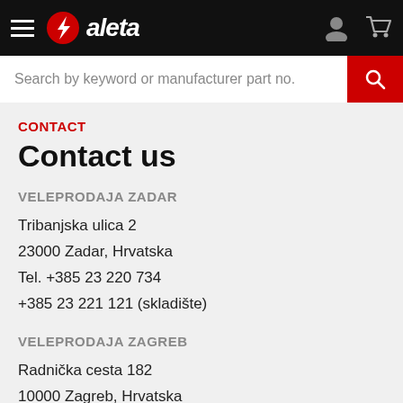[Figure (logo): Aleta logo with lightning bolt icon in red circle and white italic bold text 'aleta' on black header bar with hamburger menu, user icon, and cart icon]
Search by keyword or manufacturer part no.
CONTACT
Contact us
VELEPRODAJA ZADAR
Tribanjska ulica 2
23000 Zadar, Hrvatska
Tel. +385 23 220 734
+385 23 221 121 (skladište)
VELEPRODAJA ZAGREB
Radnička cesta 182
10000 Zagreb, Hrvatska